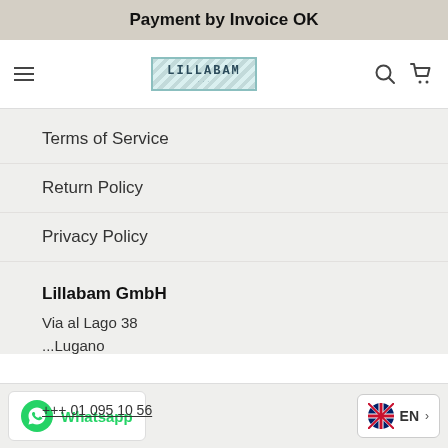Payment by Invoice OK
[Figure (logo): Lillabam GmbH logo with decorative border]
Terms of Service
Return Policy
Privacy Policy
Lillabam GmbH
Via al Lago 38
...Lugano
+++ 01 095 10 56